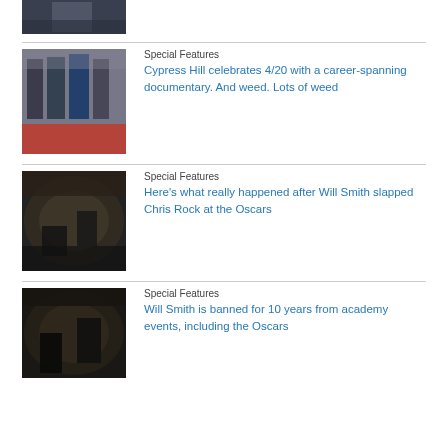[Figure (photo): Partial top image showing a person in dark clothing on steps or escalator]
[Figure (photo): Cypress Hill group standing on Hollywood Walk of Fame red carpet star ceremony]
Special Features
Cypress Hill celebrates 4/20 with a career-spanning documentary. And weed. Lots of weed
[Figure (photo): Will Smith slapping Chris Rock on stage at the Oscars ceremony]
Special Features
Here’s what really happened after Will Smith slapped Chris Rock at the Oscars
[Figure (photo): Will Smith and Chris Rock at Oscars stage, Will Smith standing over Chris Rock]
Special Features
Will Smith is banned for 10 years from academy events, including the Oscars